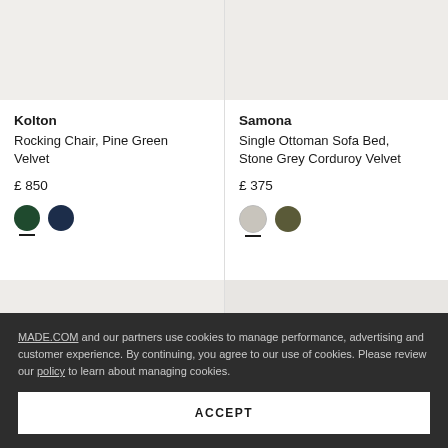[Figure (photo): Partial product image of Kolton Rocking Chair, Pine Green Velvet (cropped top portion)]
[Figure (photo): Partial product image of Samona Single Ottoman Sofa Bed, Stone Grey Corduroy Velvet (cropped top portion)]
Kolton
Rocking Chair, Pine Green Velvet
£ 850
Samona
Single Ottoman Sofa Bed, Stone Grey Corduroy Velvet
£ 375
[Figure (photo): Bottom row partial product images (two products, cropped)]
MADE.COM and our partners use cookies to manage performance, advertising and customer experience. By continuing, you agree to our use of cookies. Please review our policy to learn about managing cookies.
ACCEPT